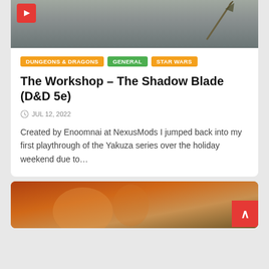[Figure (screenshot): Top portion of a blog post card showing a dark gray/green atmospheric background image with a small red play icon in the top left and a sword/weapon silhouette on the right side]
DUNGEONS & DRAGONS
GENERAL
STAR WARS
The Workshop – The Shadow Blade (D&D 5e)
JUL 12, 2022
Created by Enoomnai at NexusMods I jumped back into my first playthrough of the Yakuza series over the holiday weekend due to…
[Figure (photo): Bottom card showing a fantasy/gaming artwork with warm orange tones depicting an armored warrior figure]